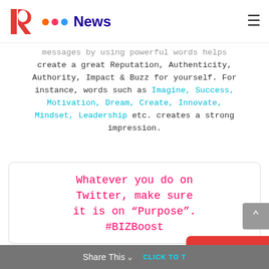RB News
messages by using powerful words helps create a great Reputation, Authenticity, Authority, Impact & Buzz for yourself. For instance, words such as Imagine, Success, Motivation, Dream, Create, Innovate, Mindset, Leadership etc. creates a strong impression.
[Figure (screenshot): Quote box with pink/red text: Whatever you do on Twitter, make sure it is on “Purpose”. #BIZBoost]
Share This | CLICK TO T... | Chat